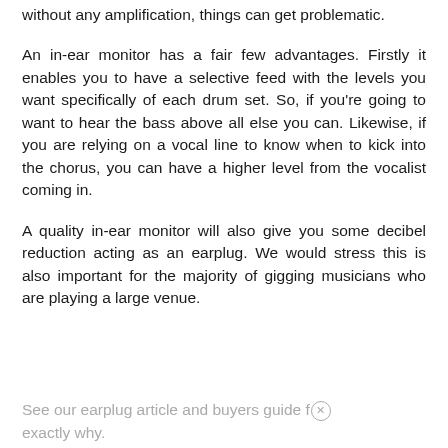without any amplification, things can get problematic.
An in-ear monitor has a fair few advantages. Firstly it enables you to have a selective feed with the levels you want specifically of each drum set. So, if you're going to want to hear the bass above all else you can. Likewise, if you are relying on a vocal line to know when to kick into the chorus, you can have a higher level from the vocalist coming in.
A quality in-ear monitor will also give you some decibel reduction acting as an earplug. We would stress this is also important for the majority of gigging musicians who are playing a large venue. See our earplug article and buyers guide for exactly why.